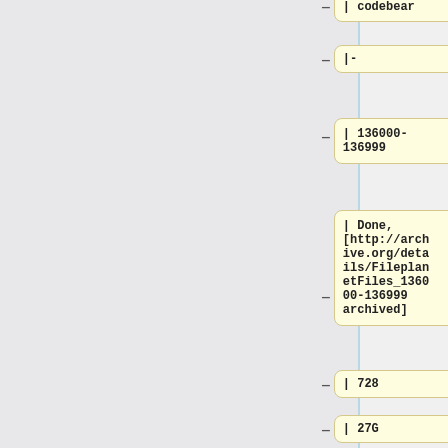| codebear
|-
| 136000-136999
| Done, [http://archive.org/details/FileplanetFiles_136000-136999 archived]
| 728
| 27G
| codebear
|-